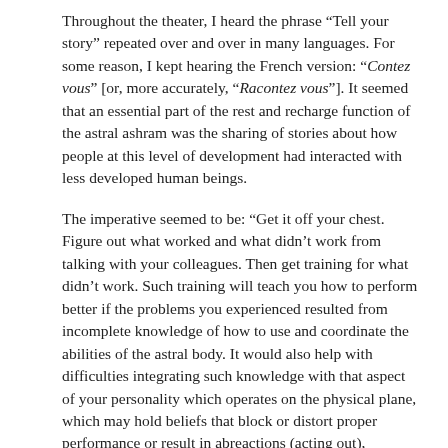Throughout the theater, I heard the phrase “Tell your story” repeated over and over in many languages. For some reason, I kept hearing the French version: “Contez vous” [or, more accurately, “Racontez vous”]. It seemed that an essential part of the rest and recharge function of the astral ashram was the sharing of stories about how people at this level of development had interacted with less developed human beings.
The imperative seemed to be: “Get it off your chest. Figure out what worked and what didn’t work from talking with your colleagues. Then get training for what didn’t work. Such training will teach you how to perform better if the problems you experienced resulted from incomplete knowledge of how to use and coordinate the abilities of the astral body. It would also help with difficulties integrating such knowledge with that aspect of your personality which operates on the physical plane, which may hold beliefs that block or distort proper performance or result in abreactions (acting out), especially when